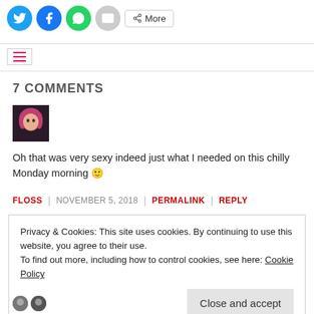[Figure (other): Social share buttons: Twitter (blue circle), Facebook (blue circle), WhatsApp (green circle), Email (grey circle), and a More button]
[Figure (other): Navigation bar with hamburger menu icon (three red horizontal lines) on the left]
7 COMMENTS
[Figure (photo): Small square avatar photo of a person with pink/red hair]
Oh that was very sexy indeed just what I needed on this chilly Monday morning 🙂
FLOSS | NOVEMBER 5, 2018 | PERMALINK | REPLY
Privacy & Cookies: This site uses cookies. By continuing to use this website, you agree to their use.
To find out more, including how to control cookies, see here: Cookie Policy
Close and accept